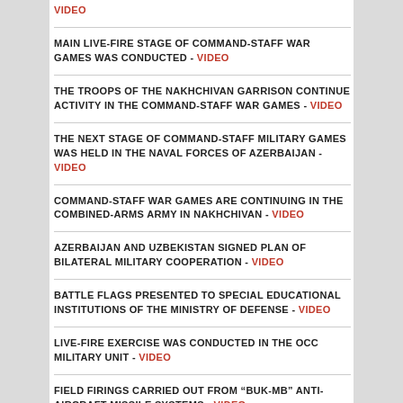VIDEO
MAIN LIVE-FIRE STAGE OF COMMAND-STAFF WAR GAMES WAS CONDUCTED - VIDEO
THE TROOPS OF THE NAKHCHIVAN GARRISON CONTINUE ACTIVITY IN THE COMMAND-STAFF WAR GAMES - VIDEO
THE NEXT STAGE OF COMMAND-STAFF MILITARY GAMES WAS HELD IN THE NAVAL FORCES OF AZERBAIJAN - VIDEO
COMMAND-STAFF WAR GAMES ARE CONTINUING IN THE COMBINED-ARMS ARMY IN NAKHCHIVAN - VIDEO
AZERBAIJAN AND UZBEKISTAN SIGNED PLAN OF BILATERAL MILITARY COOPERATION - VIDEO
BATTLE FLAGS PRESENTED TO SPECIAL EDUCATIONAL INSTITUTIONS OF THE MINISTRY OF DEFENSE - VIDEO
LIVE-FIRE EXERCISE WAS CONDUCTED IN THE OCC MILITARY UNIT - VIDEO
FIELD FIRINGS CARRIED OUT FROM “BUK-MB” ANTI-AIRCRAFT MISSILE SYSTEMS - VIDEO